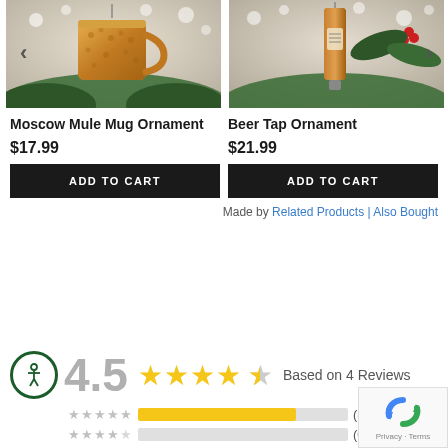[Figure (photo): Moscow Mule copper mug Christmas ornament hanging on tree with bokeh lights, carousel with left arrow]
[Figure (photo): Beer tap Christmas ornament hanging on tree with bokeh lights, carousel with right arrow]
Moscow Mule Mug Ornament
Beer Tap Ornament
$17.99
$21.99
ADD TO CART
ADD TO CART
Made by Related Products | Also Bought
4.5 ★★★★½ Based on 4 Reviews
5 star bar (3)
4 star bar (0)